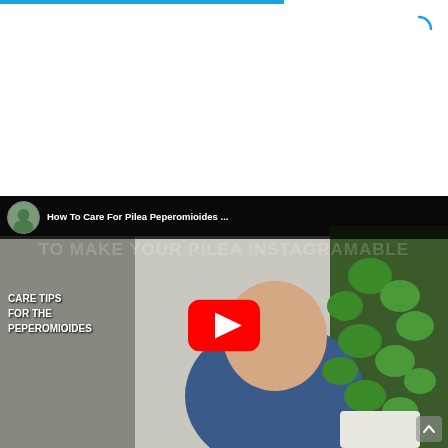[Figure (screenshot): YouTube video thumbnail showing a man in a blue shirt with a plant (Pilea Peperomioides) and text overlay. Video title: 'How To Care For Pilea Peperomioides...' with channel avatar. Care tips overlay text reads: CARE TIPS FOR THE PEPEROMIOIDES. Red YouTube play button in center.]